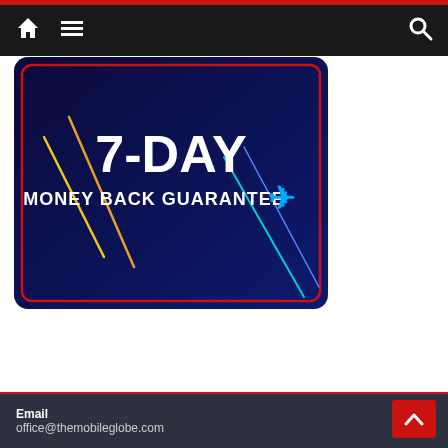Navigation bar with home, menu, and search icons
[Figure (illustration): Dark blue promotional banner reading '7-DAY MONEY BACK GUARANTEE' with colorful diagonal lines and a blue cross/plus icon]
The Mobile Globe
Email
office@themobileglobe.com